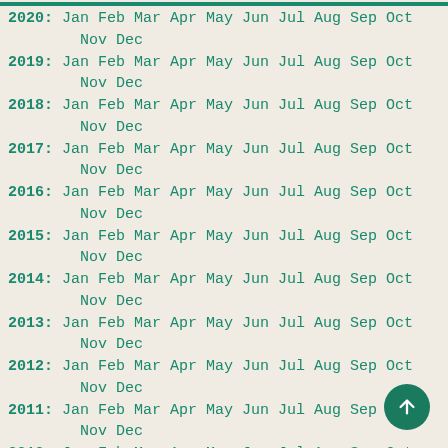2020: Jan Feb Mar Apr May Jun Jul Aug Sep Oct Nov Dec
2019: Jan Feb Mar Apr May Jun Jul Aug Sep Oct Nov Dec
2018: Jan Feb Mar Apr May Jun Jul Aug Sep Oct Nov Dec
2017: Jan Feb Mar Apr May Jun Jul Aug Sep Oct Nov Dec
2016: Jan Feb Mar Apr May Jun Jul Aug Sep Oct Nov Dec
2015: Jan Feb Mar Apr May Jun Jul Aug Sep Oct Nov Dec
2014: Jan Feb Mar Apr May Jun Jul Aug Sep Oct Nov Dec
2013: Jan Feb Mar Apr May Jun Jul Aug Sep Oct Nov Dec
2012: Jan Feb Mar Apr May Jun Jul Aug Sep Oct Nov Dec
2011: Jan Feb Mar Apr May Jun Jul Aug Sep Oct Nov Dec
2010: Jan Feb Mar Apr May Jun Jul Aug Sep Oct Nov Dec
2009: Jan Feb Mar Apr May Jun Jul Aug Sep Oct Nov Dec